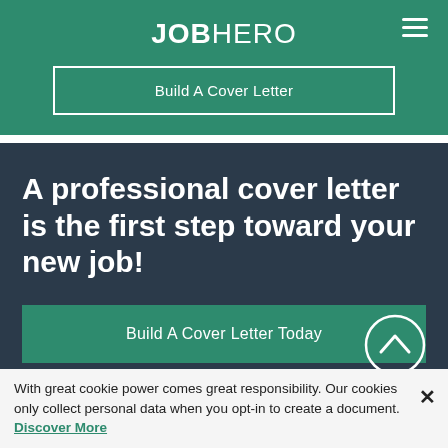JOBHERO
Build A Cover Letter
A professional cover letter is the first step toward your new job!
Build A Cover Letter Today
With great cookie power comes great responsibility. Our cookies only collect personal data when you opt-in to create a document. Discover More